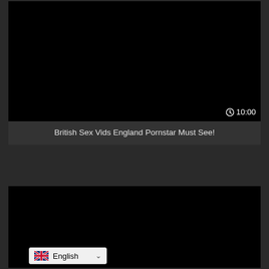[Figure (screenshot): Black video thumbnail with duration badge showing 10:00 in bottom-right corner]
British Sex Vids England Pornstar Must See!
[Figure (screenshot): Black video thumbnail (second video card, partially visible)]
English